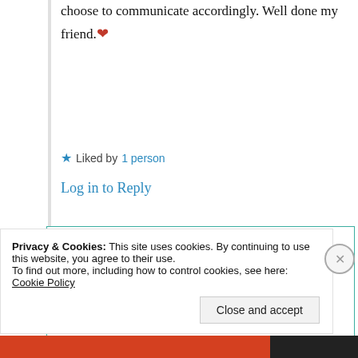choose to communicate accordingly. Well done my friend.❤
★ Liked by 1 person
Log in to Reply
Suma Reddy
14th May 2021 at 3:48 pm
Privacy & Cookies: This site uses cookies. By continuing to use this website, you agree to their use.
To find out more, including how to control cookies, see here: Cookie Policy
Close and accept